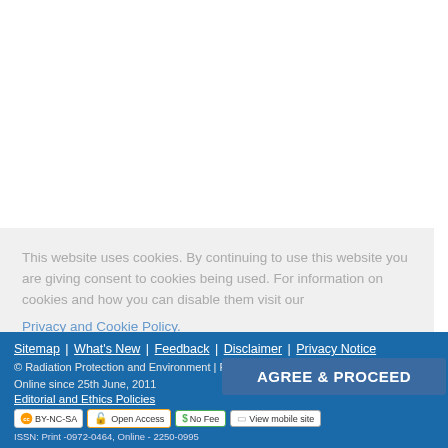This website uses cookies. By continuing to use this website you are giving consent to cookies being used. For information on cookies and how you can disable them visit our
Privacy and Cookie Policy.
AGREE & PROCEED
Sitemap | What's New | Feedback | Disclaimer | Privacy Notice © Radiation Protection and Environment | Published by Wolters Kluwer - Medknow Online since 25th June, 2011 Editorial and Ethics Policies [CC BY-NC-SA] Open Access $ No Fee View mobile site ISSN: Print -0972-0464, Online - 2250-0995